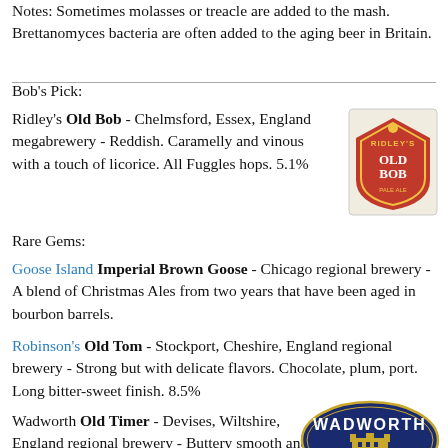Notes: Sometimes molasses or treacle are added to the mash. Brettanomyces bacteria are often added to the aging beer in Britain.
Bob's Pick:
Ridley's Old Bob - Chelmsford, Essex, England megabrewery - Reddish. Caramelly and vinous with a touch of licorice. All Fuggles hops. 5.1%
[Figure (logo): Ridley's Old Bob beer logo - red shield shape with OLD BOB text]
Rare Gems:
Goose Island Imperial Brown Goose - Chicago regional brewery - A blend of Christmas Ales from two years that have been aged in bourbon barrels.
Robinson's Old Tom - Stockport, Cheshire, England regional brewery - Strong but with delicate flavors. Chocolate, plum, port. Long bitter-sweet finish. 8.5%
Wadworth Old Timer - Devises, Wiltshire, England regional brewery - Buttery smooth and bracing.
[Figure (logo): Wadworth brewery oval logo - navy blue oval with WADWORTH text and castle/building illustration]